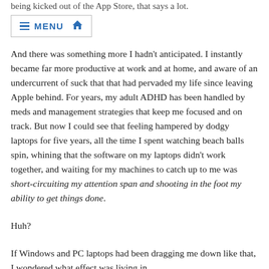being kicked out of the App Store, that says a lot.
MENU [home icon]
And there was something more I hadn't anticipated. I instantly became far more productive at work and at home, and aware of an undercurrent of suck that that had pervaded my life since leaving Apple behind. For years, my adult ADHD has been handled by meds and management strategies that keep me focused and on track. But now I could see that feeling hampered by dodgy laptops for five years, all the time I spent watching beach balls spin, whining that the software on my laptops didn't work together, and waiting for my machines to catch up to me was short-circuiting my attention span and shooting in the foot my ability to get things done.
Huh?
If Windows and PC laptops had been dragging me down like that, I wondered what effect was living in